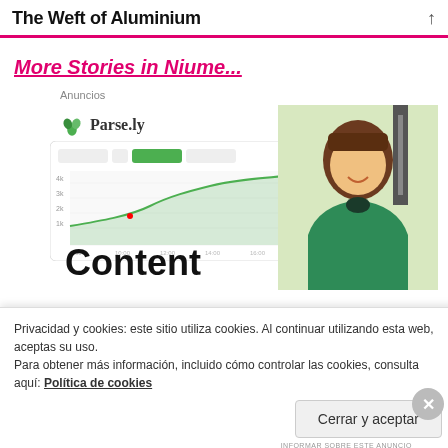The Weft of Aluminium
More Stories in Niume...
Anuncios
[Figure (screenshot): Parse.ly advertisement showing a dashboard analytics screenshot with a line chart and a smiling woman in a green top. Large bold text reads 'Content'.]
Privacidad y cookies: este sitio utiliza cookies. Al continuar utilizando esta web, aceptas su uso.
Para obtener más información, incluido cómo controlar las cookies, consulta aquí: Política de cookies
Cerrar y aceptar